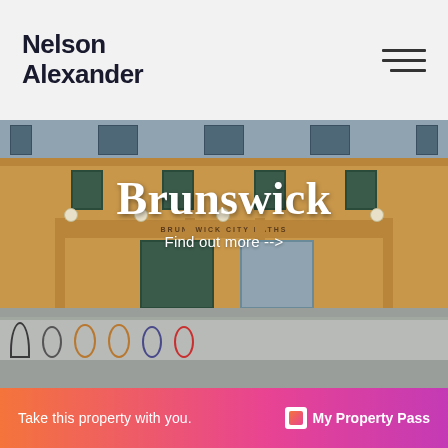Nelson Alexander
[Figure (photo): Photograph of Brunswick City Baths building exterior — a multi-storey yellow/ochre building with large windows, green-framed entrance doors, decorative signage reading BRUNSWICK CITY BATHS, globe light fixtures, bicycles parked along the footpath in front, and a metal railing along the street.]
Brunswick
Find out more -->
Take this property with you.
My Property Pass